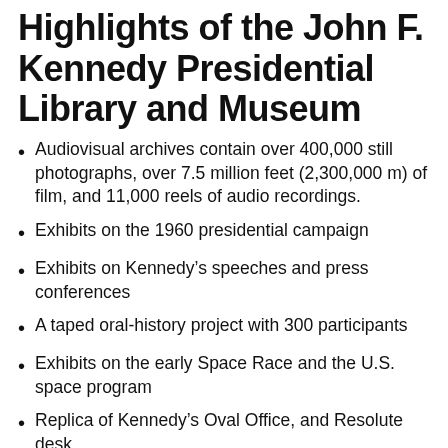Highlights of the John F. Kennedy Presidential Library and Museum
Audiovisual archives contain over 400,000 still photographs, over 7.5 million feet (2,300,000 m) of film, and 11,000 reels of audio recordings.
Exhibits on the 1960 presidential campaign
Exhibits on Kennedy's speeches and press conferences
A taped oral-history project with 300 participants
Exhibits on the early Space Race and the U.S. space program
Replica of Kennedy's Oval Office, and Resolute desk